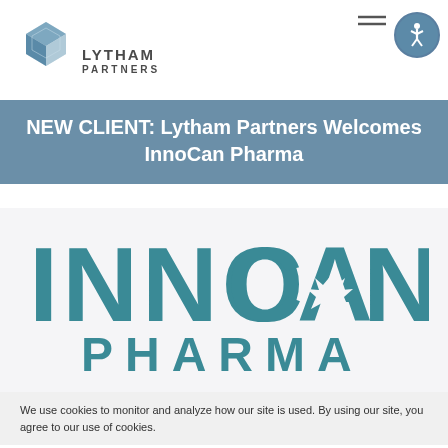[Figure (logo): Lytham Partners logo with geometric cube icon and text 'LYTHAM PARTNERS']
NEW CLIENT: Lytham Partners Welcomes InnoCan Pharma
[Figure (logo): InnoCan Pharma logo with large teal letters INNOCAN above PHARMA]
We use cookies to monitor and analyze how our site is used. By using our site, you agree to our use of cookies.